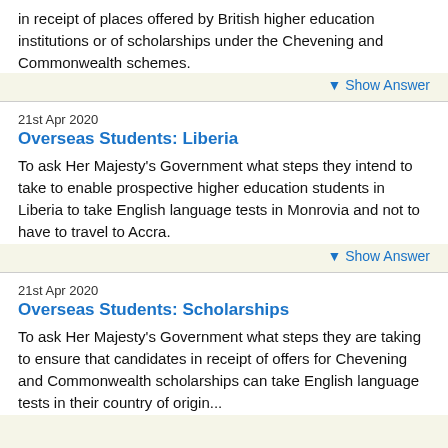in receipt of places offered by British higher education institutions or of scholarships under the Chevening and Commonwealth schemes.
▼ Show Answer
21st Apr 2020
Overseas Students: Liberia
To ask Her Majesty's Government what steps they intend to take to enable prospective higher education students in Liberia to take English language tests in Monrovia and not to have to travel to Accra.
▼ Show Answer
21st Apr 2020
Overseas Students: Scholarships
To ask Her Majesty's Government what steps they are taking to ensure that candidates in receipt of offers for Chevening and Commonwealth scholarships can take English language tests in their country of origin...